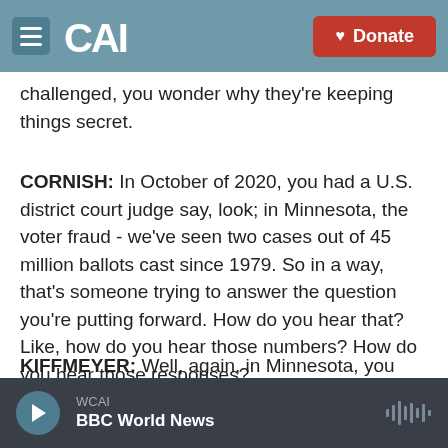CAI — Donate
challenged, you wonder why they're keeping things secret.
CORNISH: In October of 2020, you had a U.S. district court judge say, look; in Minnesota, the voter fraud - we've seen two cases out of 45 million ballots cast since 1979. So in a way, that's someone trying to answer the question you're putting forward. How do you hear that? Like, how do you hear those numbers? How do you hear those responses?
KIFFMEYER: Well, again, in Minnesota, you have to
WCAI — BBC World News